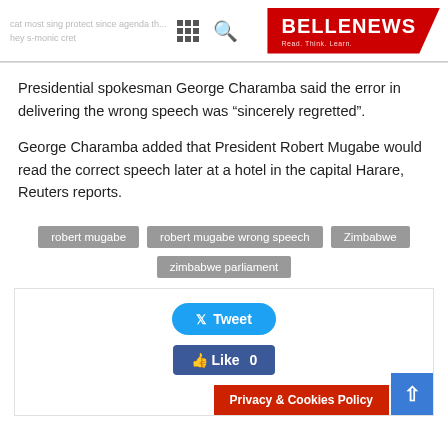BELLE NEWS — Read. Think. Learn.
Presidential spokesman George Charamba said the error in delivering the wrong speech was “sincerely regretted”.
George Charamba added that President Robert Mugabe would read the correct speech later at a hotel in the capital Harare, Reuters reports.
robert mugabe
robert mugabe wrong speech
Zimbabwe
zimbabwe parliament
[Figure (other): Tweet button, Like button, Privacy & Cookies Policy banner, and back-to-top arrow]